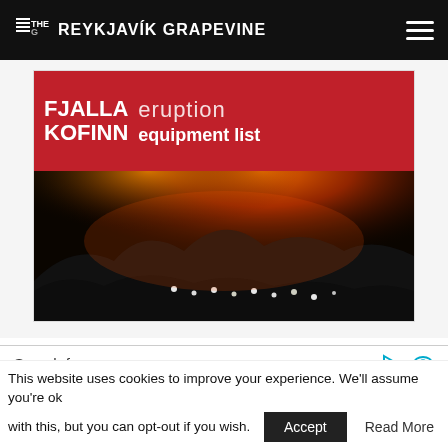THE G REYKJAVIK GRAPEVINE
[Figure (photo): Advertisement banner for Fjalla Kofinn showing eruption equipment list, with a dark photo of people hiking at night with glowing lava eruption in background]
Search for
1. ICELAND TOUR PACKAGES
2. MOTORCYCLE CLUBS NEAR ME
This website uses cookies to improve your experience. We'll assume you're ok with this, but you can opt-out if you wish.
Accept
Read More